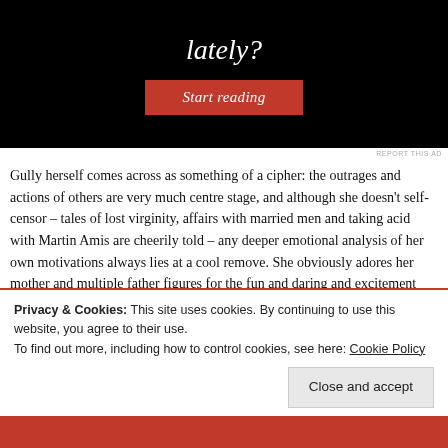[Figure (screenshot): Advertisement banner with black background showing italic text 'lately?' and a red 'Start reading' button]
Gully herself comes across as something of a cipher: the outrages and actions of others are very much centre stage, and although she doesn't self-censor – tales of lost virginity, affairs with married men and taking acid with Martin Amis are cheerily told – any deeper emotional analysis of her own motivations always lies at a cool remove. She obviously adores her mother and multiple father figures for the fun and daring and excitement they bring in to her life (boredom is the greatest sin in Gully-world), but any more dark and dangerous feelings seem to be sublimated, lurking so
Privacy & Cookies: This site uses cookies. By continuing to use this website, you agree to their use.
To find out more, including how to control cookies, see here: Cookie Policy
Close and accept